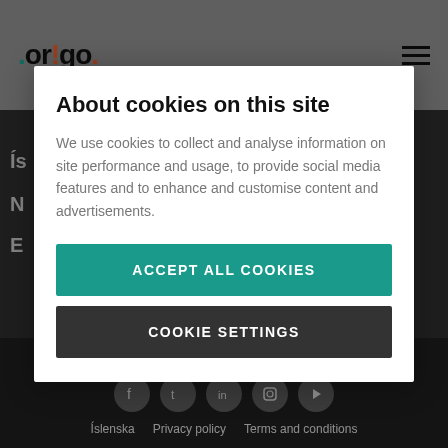[Figure (screenshot): origo.is website screenshot with cookie consent modal overlay. Header shows origo logo and hamburger menu. Background shows dark content area and footer with social icons.]
About cookies on this site
We use cookies to collect and analyse information on site performance and usage, to provide social media features and to enhance and customise content and advertisements.
ACCEPT ALL COOKIES
COOKIE SETTINGS
Íslenska   Privacy policy   Terms and conditions